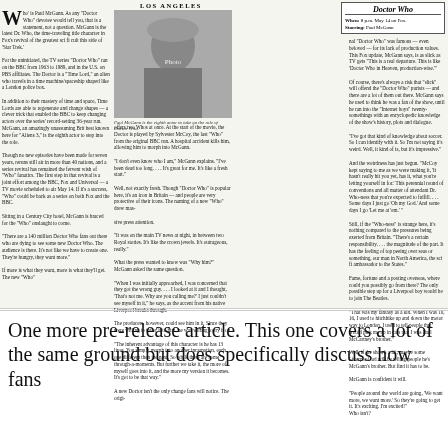LOS ANGELES
[Figure (photo): Black and white photo of Paul McGann as Doctor Who, wearing the Doctor's costume with a distinctive haircut and period clothing]
Paul McGann is the eighth actor to take on the role of Doctor Who.
Who is Paul McGann. As any "Doctor Who" devotee would tell you, that is a statement, not a question. McGann is the latest Dr. Who, the time-traveling title character in Fox's revival of the greatest sci fi cult this side of 'Star Trek.'
For the uninitiated, the TV series "Doctor Who" ran on the BBC from 1963 to 1989, and in the U.S. on PBS affiliates. The Doctor is a "Time Lord," an alien who travels in a time machine/spaceship shaped like a London police box.
Doctor Who
When: 8 p.m. May 14 on Fox. Starring: Paul McGann
nal "Doctor Who" was famous — even beloved — for its lack of production values. This Fox update, McGann says, is as slick as TV gets "This is a real departure. This is like 'Doctor Who in Heaven, production-wise.'"
One more pre-release article. This one covers a lot of the same ground but does specifically discuss how fans
"People around the world are going, 'We want more, we want more.' So they're going to get it. It's exciting. I'm excited!" Who isn't?